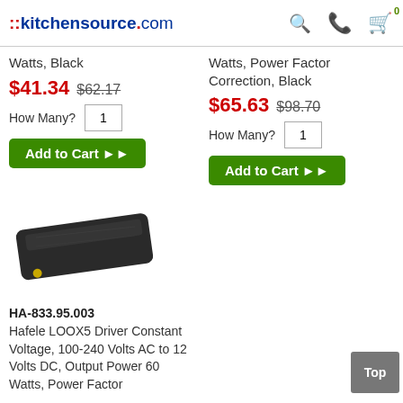::kitchensource.com
Watts, Black
$41.34  $62.17
How Many? 1
Add to Cart ▶▶
Watts, Power Factor Correction, Black
$65.63  $98.70
How Many? 1
Add to Cart ▶▶
[Figure (photo): Product photo of Hafele LOOX5 Driver, a flat black rectangular device]
HA-833.95.003
Hafele LOOX5 Driver Constant Voltage, 100-240 Volts AC to 12 Volts DC, Output Power 60 Watts, Power Factor